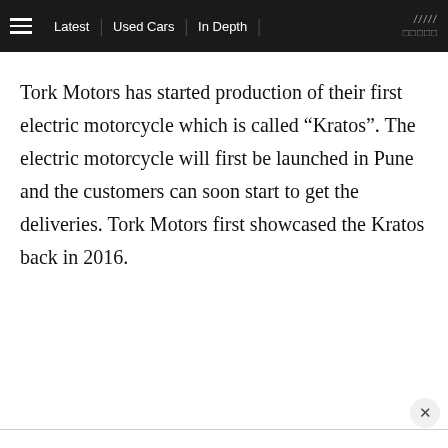≡  Latest  |  Used Cars  |  In Depth  | /////  □□□□□
Tork Motors has started production of their first electric motorcycle which is called “Kratos”. The electric motorcycle will first be launched in Pune and the customers can soon start to get the deliveries. Tork Motors first showcased the Kratos back in 2016.